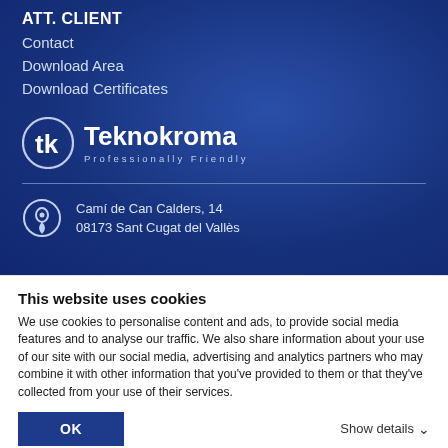ATT. CLIENT
Contact
Download Area
Download Certificates
[Figure (logo): Teknokroma logo with circular TK icon and tagline 'Professionally Friendly' on blue background]
Camí de Can Calders, 14
08173 Sant Cugat del Vallès
This website uses cookies
We use cookies to personalise content and ads, to provide social media features and to analyse our traffic. We also share information about your use of our site with our social media, advertising and analytics partners who may combine it with other information that you've provided to them or that they've collected from your use of their services.
OK
Show details